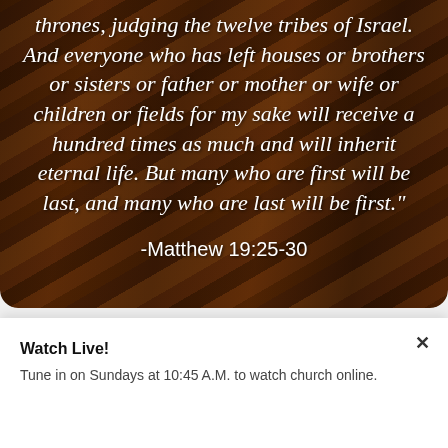[Figure (photo): Background image of old book spines arranged on a shelf, with warm brown and amber tones, overlaid with italic white text of a Bible verse.]
thrones, judging the twelve tribes of Israel. And everyone who has left houses or brothers or sisters or father or mother or wife or children or fields for my sake will receive a hundred times as much and will inherit eternal life. But many who are first will be last, and many who are last will be first."
-Matthew 19:25-30
Watch Live!
Tune in on Sundays at 10:45 A.M. to watch church online.